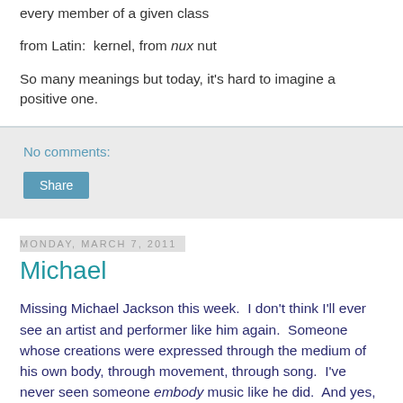every member of a given class
from Latin:  kernel, from nux nut
So many meanings but today, it's hard to imagine a positive one.
No comments:
Share
Monday, March 7, 2011
Michael
Missing Michael Jackson this week.  I don't think I'll ever see an artist and performer like him again.  Someone whose creations were expressed through the medium of his own body, through movement, through song.  I've never seen someone embody music like he did.  And yes, even on a